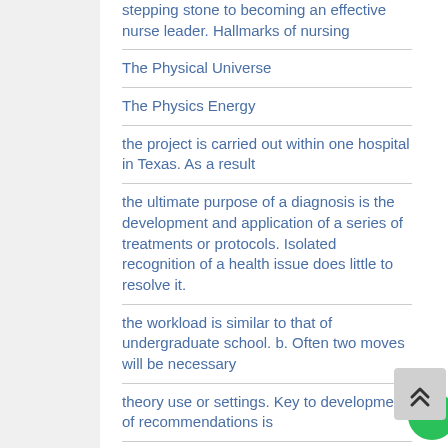stepping stone to becoming an effective nurse leader. Hallmarks of nursing
The Physical Universe
The Physics Energy
the project is carried out within one hospital in Texas. As a result
the ultimate purpose of a diagnosis is the development and application of a series of treatments or protocols. Isolated recognition of a health issue does little to resolve it.
the workload is similar to that of undergraduate school. b. Often two moves will be necessary
theory use or settings. Key to development of recommendations is